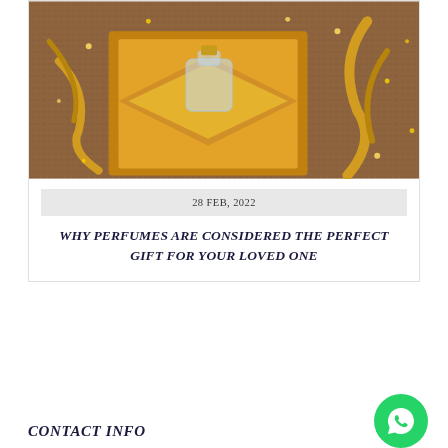[Figure (photo): A perfume bottle in a gold/yellow gift box with golden ribbon decorations and fairy lights on a brown knitted background]
28 FEB, 2022
WHY PERFUMES ARE CONSIDERED THE PERFECT GIFT FOR YOUR LOVED ONE
CONTACT INFO